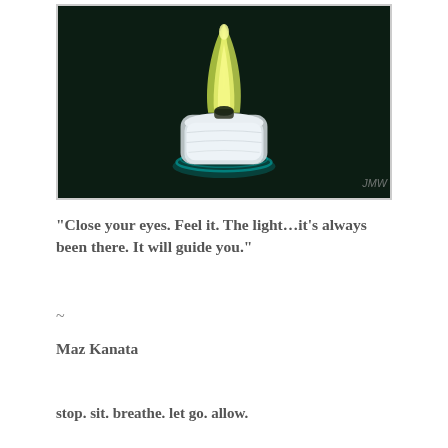[Figure (photo): A photograph of a candle or flower bud on a dark green/black background, showing a white rounded base with concentric rings and a yellow petal-like top, with the initials JMW watermarked in the bottom right corner.]
“Close your eyes. Feel it. The light…it’s always been there. It will guide you.”
~
Maz Kanata
stop. sit. breathe. let go. allow.